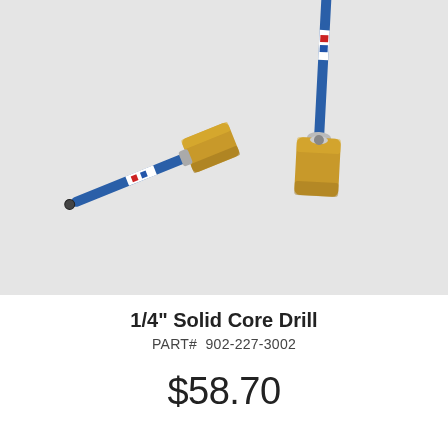[Figure (photo): Two 1/4 inch solid core drill bits with gold/brass hexagonal fittings and blue shafts with red/white label bands. One is shown horizontally and the other vertically, both on a light gray background.]
1/4" Solid Core Drill
PART#  902-227-3002
$58.70